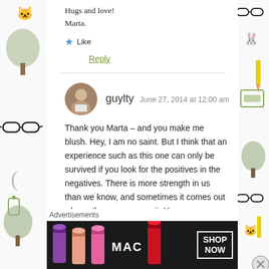Hugs and love!
Marta.
Like
Reply
guylty  June 27, 2014 at 12:00 am
Thank you Marta – and you make me blush. Hey, I am no saint. But I think that an experience such as this one can only be survived if you look for the positives in the negatives. There is more strength in us than we know, and sometimes it comes out when others encourage it. Your messages
Advertisements
[Figure (photo): MAC cosmetics advertisement banner showing colorful lipsticks with MAC logo and SHOP NOW button]